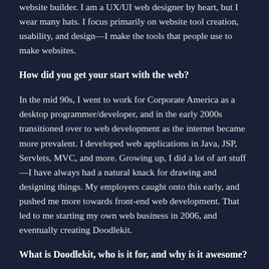website builder. I am a UX/UI web designer by heart, but I wear many hats. I focus primarily on website tool creation, usability, and design—I make the tools that people use to make websites.
How did you get your start with the web?
In the mid 90s, I went to work for Corporate America as a desktop programmer/developer, and in the early 2000s transitioned over to web development as the internet became more prevalent. I developed web applications in Java, JSP, Servlets, MVC, and more. Growing up, I did a lot of art stuff—I have always had a natural knack for drawing and designing things. My employers caught onto this early, and pushed me more towards front-end web development. That led to me starting my own web business in 2006, and eventually creating Doodlekit.
What is Doodlekit, who is it for, and why is it awesome?
Doodlekit is an online website builder that allows individuals and small businesses to create their own website online at an affordable price without having to write any code. It comes with tools such as blogs, forums, form builders, shopping cart, image